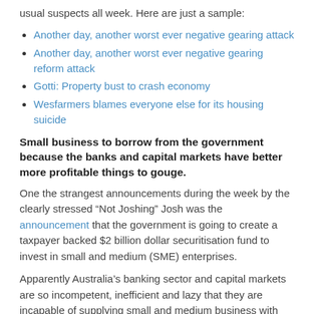usual suspects all week. Here are just a sample:
Another day, another worst ever negative gearing attack
Another day, another worst ever negative gearing reform attack
Gotti: Property bust to crash economy
Wesfarmers blames everyone else for its housing suicide
Small business to borrow from the government because the banks and capital markets have better more profitable things to gouge.
One the strangest announcements during the week by the clearly stressed “Not Joshing” Josh was the announcement that the government is going to create a taxpayer backed $2 billion dollar securitisation fund to invest in small and medium (SME) enterprises.
Apparently Australia’s banking sector and capital markets are so incompetent, inefficient and lazy that they are incapable of supplying small and medium business with the financial services they need and the government has to step in to ensure that SME have access to credit and equity.
One might have thought that now is not the time for Australian banks and capital markets to be confessing that they can’t actually